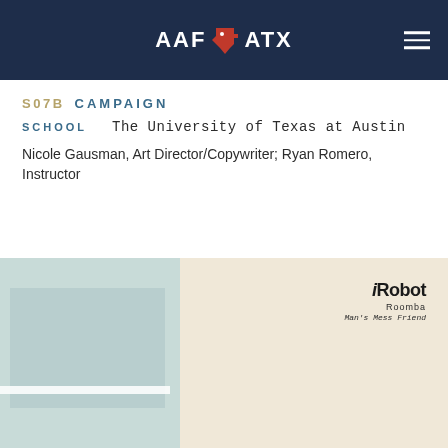AAF ATX
S07B  CAMPAIGN
SCHOOL    The University of Texas at Austin
Nicole Gausman, Art Director/Copywriter; Ryan Romero, Instructor
[Figure (illustration): Split image showing a light teal/blue-green paneled surface on the left and a cream/beige background on the right with iRobot Roomba logo and tagline 'Man's Mess Friend' in upper right corner]